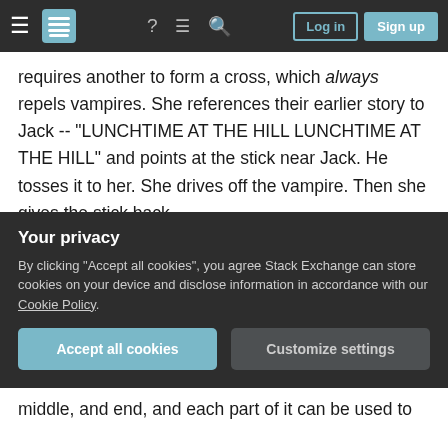Stack Exchange navigation bar with hamburger menu, logo, help icon, chat icon, search icon, Log in button, Sign up button
requires another to form a cross, which always repels vampires. She references their earlier story to Jack -- "LUNCHTIME AT THE HILL LUNCHTIME AT THE HILL" and points at the stick near Jack. He tosses it to her. She drives off the vampire. Then she gives the stick back.
This situation can spawn many stories -- one of them being "that time we realized that it's helpful to say 'I need two of this thing'" and gets its own label. "Jill, preparing a weapon at The Hill." We've seen Dathan step through a story before -- he does so in
middle, and end, and each part of it can be used to
Your privacy
By clicking "Accept all cookies", you agree Stack Exchange can store cookies on your device and disclose information in accordance with our Cookie Policy.
Accept all cookies   Customize settings